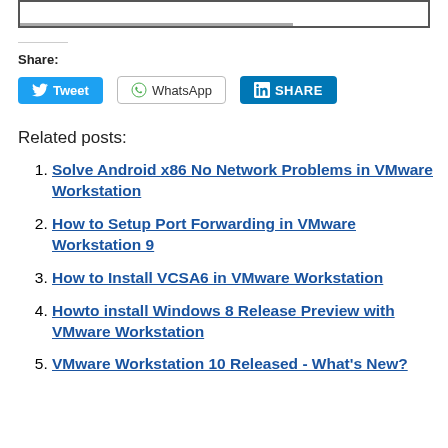[Figure (other): Top bar UI element with progress indicator]
Share:
[Figure (other): Social share buttons: Tweet, WhatsApp, LinkedIn SHARE]
Related posts:
1. Solve Android x86 No Network Problems in VMware Workstation
2. How to Setup Port Forwarding in VMware Workstation 9
3. How to Install VCSA6 in VMware Workstation
4. Howto install Windows 8 Release Preview with VMware Workstation
5. VMware Workstation 10 Released - What's New?